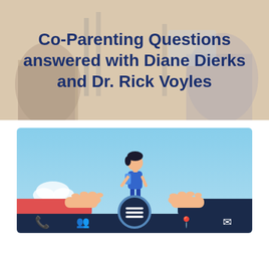[Figure (photo): Background photo of two people at a radio/podcast studio with microphones, slightly faded/muted tones]
Co-Parenting Questions answered with Diane Dierks and Dr. Rick Voyles
[Figure (illustration): Illustration showing a child standing on two hands reaching toward each other (co-parenting metaphor), with blue sky background and a dark navy menu bar at the bottom with phone, group, map pin, and email icons]